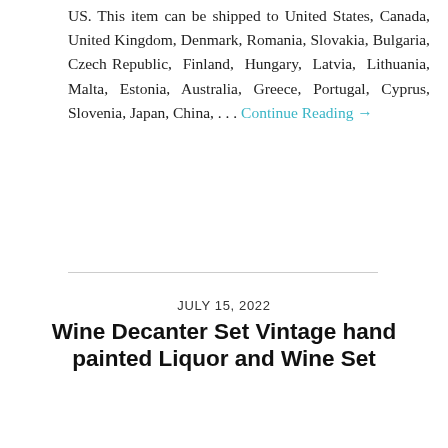US. This item can be shipped to United States, Canada, United Kingdom, Denmark, Romania, Slovakia, Bulgaria, Czech Republic, Finland, Hungary, Latvia, Lithuania, Malta, Estonia, Australia, Greece, Portugal, Cyprus, Slovenia, Japan, China,… Continue Reading →
Wine Decanter Set Vintage hand painted Liquor and Wine Set
JULY 15, 2022
[Figure (photo): Product photo of a wine decanter set with hand-painted glasses arranged together, shown in a thumbnail with blue border]
Defects: No cracks, slight traces of use and time, hand painted decanter set, for actual condition, please look at the photo and video. Dimensions: decanter tall